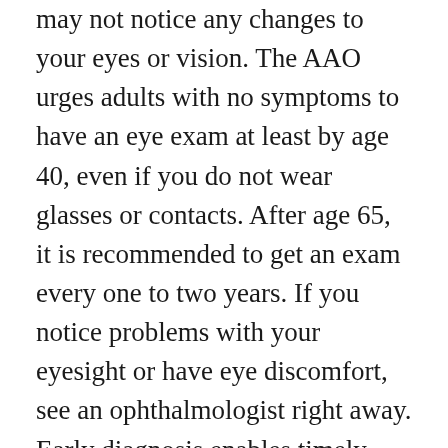may not notice any changes to your eyes or vision. The AAO urges adults with no symptoms to have an eye exam at least by age 40, even if you do not wear glasses or contacts. After age 65, it is recommended to get an exam every one to two years. If you notice problems with your eyesight or have eye discomfort, see an ophthalmologist right away. Early diagnosis enables timely treatment which can preserve vision.
2. Family history shapes your risk of AMD. Talk to your family to learn about their eye health. If a close family member has AMD, you have a greater risk of getting the disease. Let your doctor know about any family history of AMD so you can improve your chances of early